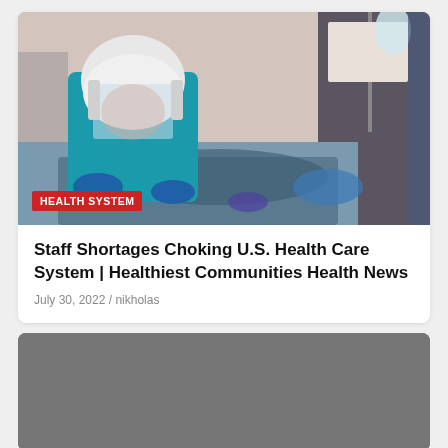[Figure (photo): Healthcare worker in full PPE including helmet with face shield leaning over a patient in a hospital bed, with IV equipment in the background]
HEALTH SYSTEM
Staff Shortages Choking U.S. Health Care System | Healthiest Communities Health News
July 30, 2022 / nikholas
[Figure (photo): Dark gray placeholder image for a second article card]